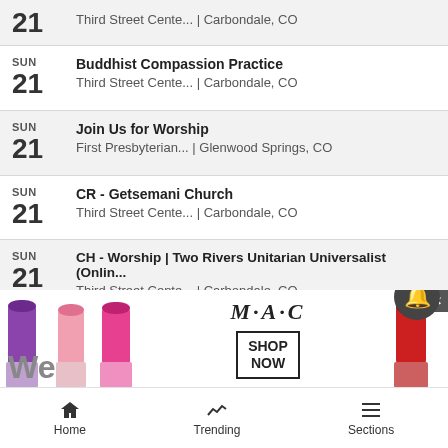SUN 21 — Buddhist Compassion Practice — Third Street Cente... | Carbondale, CO
SUN 21 — Join Us for Worship — First Presbyterian... | Glenwood Springs, CO
SUN 21 — CR - Getsemani Church — Third Street Cente... | Carbondale, CO
SUN 21 — CH - Worship | Two Rivers Unitarian Universalist (Onlin... — Third Street Cente... | Carbondale, CO
[Figure (screenshot): Week navigation bar showing SAT 20, SUN 21, MON 22, TUE 23, WED 24, THU 25 with a calendar icon]
See all events   + Add your event
[Figure (photo): MAC cosmetics advertisement showing lipsticks in purple, pink, and red colors with M·A·C brand logo and SHOP NOW button]
Home   Trending   Sections